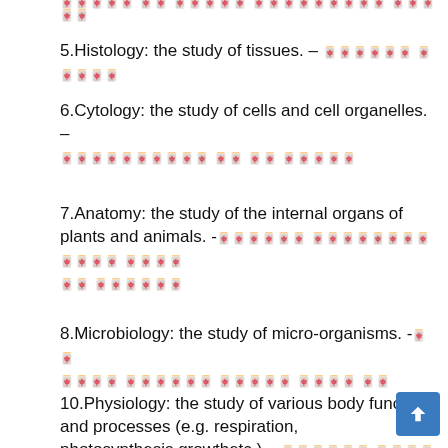🀄🀄🀄🀄🀄 🀄🀄 🀄🀄🀄🀄🀄 🀄🀄🀄🀄🀄🀄🀄🀄🀄 🀄🀄🀄🀄🀄
5.Histology: the study of tissues. – [garbled]
6.Cytology: the study of cells and cell organelles. – [garbled]
7.Anatomy: the study of the internal organs of plants and animals. -[garbled]
8.Microbiology: the study of micro-organisms. -[garbled]
10.Physiology: the study of various body functions and processes (e.g. respiration, photosynthesis,growthetc.) – [garbled]